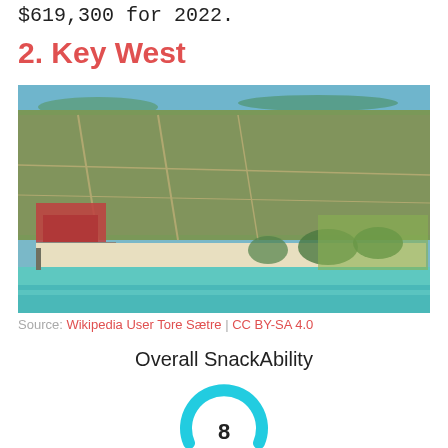$619,300 for 2022.
2. Key West
[Figure (photo): Aerial photograph of Key West, Florida, showing the city layout, beach, pier, turquoise water, and tropical vegetation from above.]
Source: Wikipedia User Tore Sætre | CC BY-SA 4.0
Overall SnackAbility
[Figure (infographic): Circular gauge or donut chart showing a score of 8 for Overall SnackAbility, rendered in cyan/turquoise color.]